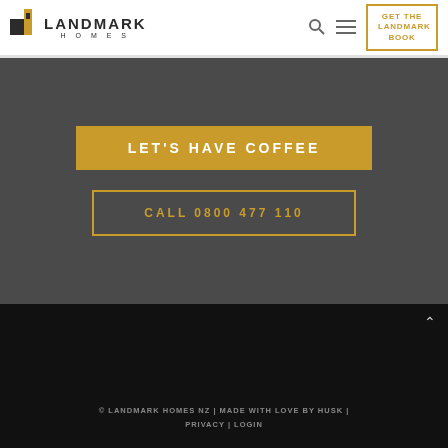LANDMARK HOMES — GET THE LANDMARK BOOK
LET'S HAVE COFFEE
CALL 0800 477 110
© LANDMARK HOMES NZ | MADE WITH LOVE BY HUSK | PRIVACY | LOGIN